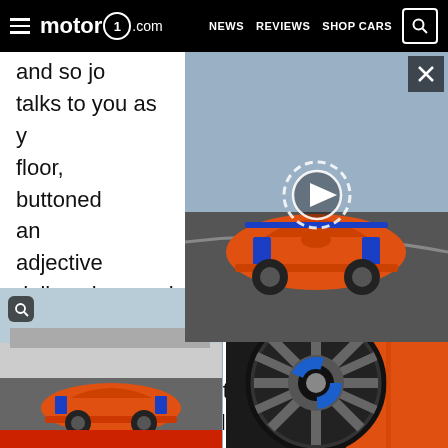motor1.com  NEWS  REVIEWS  SHOP CARS
[Figure (photo): McLaren Senna orange supercar on track with video play button overlay and close X button]
and so jo... talks to you as y... g from the floor, buttoned... I an adjective... n-dollar wing car, but Senna is far more approachable than I expected, or could have hoped. This will be a car I enjoy driving on the road, at a guess, even though it's clearly built for the circuit first.
[Figure (photo): McLaren Senna orange supercar on track at Silverstone viewed from front-left]
[Figure (photo): Close-up of McLaren Senna wheel with blue brake calipers and orange bodywork]